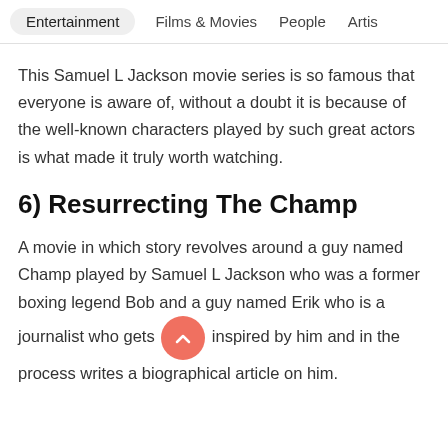Entertainment  Films & Movies  People  Artis
This Samuel L Jackson movie series is so famous that everyone is aware of, without a doubt it is because of the well-known characters played by such great actors is what made it truly worth watching.
6) Resurrecting The Champ
A movie in which story revolves around a guy named Champ played by Samuel L Jackson who was a former boxing legend Bob and a guy named Erik who is a journalist who gets inspired by him and in the process writes a biographical article on him.